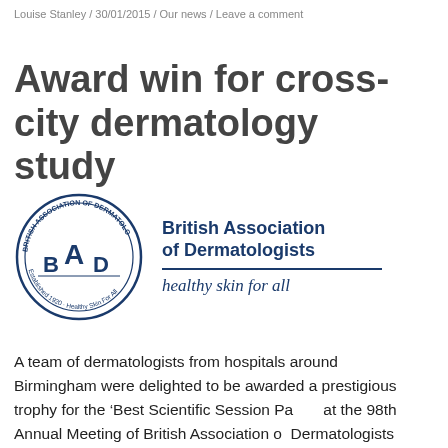Louise Stanley / 30/01/2015 / Our news / Leave a comment
Award win for cross-city dermatology study
[Figure (logo): British Association of Dermatologists logo: circular seal with 'BAD' letters and text 'Established 1920, Healthy Skin For All', alongside text 'British Association of Dermatologists' and italic tagline 'healthy skin for all']
A team of dermatologists from hospitals around Birmingham were delighted to be awarded a prestigious trophy for the ‘Best Scientific Session Paper’ at the 98th Annual Meeting of British Association of Dermatologists (BAD), held in Edinburgh earlier this year. The winning paper, written by clinicians from both